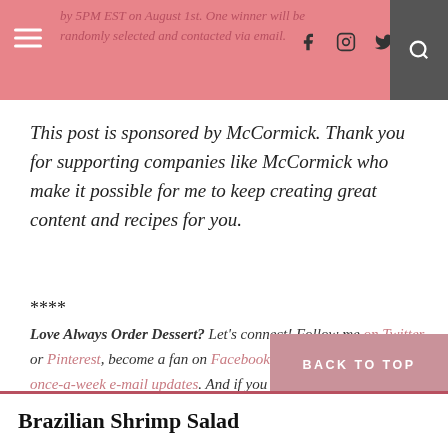by 5PM EST on August 1st. One winner will be randomly selected and contacted via email.
This post is sponsored by McCormick. Thank you for supporting companies like McCormick who make it possible for me to keep creating great content and recipes for you.
****
Love Always Order Dessert? Let's connect! Follow me on Twitter or Pinterest, become a fan on Facebook, or sign up to receive my once-a-week e-mail updates. And if you ever need any entertaining or cooking advice, please don't hesitate to e-mail me. Thanks for reading!
Brazilian Shrimp Salad